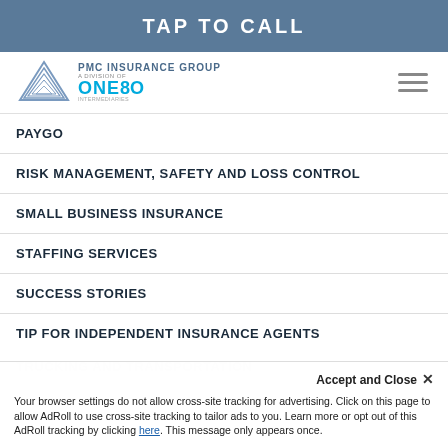TAP TO CALL
[Figure (logo): PMC Insurance Group, A Division of ONE80 Intermediaries logo with hamburger menu icon]
PAYGO
RISK MANAGEMENT, SAFETY AND LOSS CONTROL
SMALL BUSINESS INSURANCE
STAFFING SERVICES
SUCCESS STORIES
TIP FOR INDEPENDENT INSURANCE AGENTS
Accept and Close ✕
Your browser settings do not allow cross-site tracking for advertising. Click on this page to allow AdRoll to use cross-site tracking to tailor ads to you. Learn more or opt out of this AdRoll tracking by clicking here. This message only appears once.